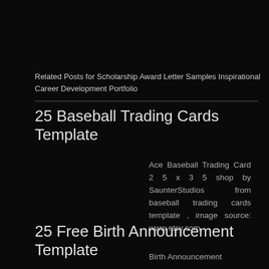Related Posts for Scholarship Award Letter Samples Inspirational Career Development Portfolio
25 Baseball Trading Cards Template
Ace Baseball Trading Card 2 5 x 3 5 shop by SaunterStudios from baseball trading cards template , image source: www.etsy.com
25 Free Birth Announcement Template
Birth Announcement